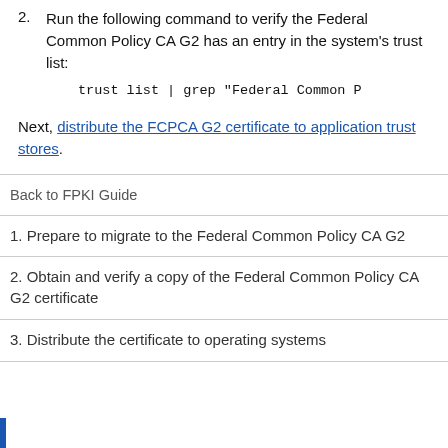2. Run the following command to verify the Federal Common Policy CA G2 has an entry in the system's trust list:
Next, distribute the FCPCA G2 certificate to application trust stores.
Back to FPKI Guide
1. Prepare to migrate to the Federal Common Policy CA G2
2. Obtain and verify a copy of the Federal Common Policy CA G2 certificate
3. Distribute the certificate to operating systems